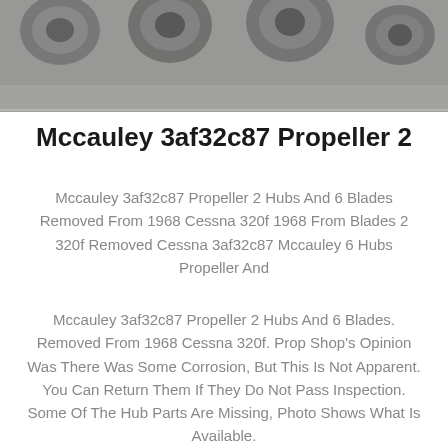[Figure (photo): Close-up photo of metal propeller hubs/components, gray metallic surface with circular openings visible]
Mccauley 3af32c87 Propeller 2
Mccauley 3af32c87 Propeller 2 Hubs And 6 Blades Removed From 1968 Cessna 320f 1968 From Blades 2 320f Removed Cessna 3af32c87 Mccauley 6 Hubs Propeller And
Mccauley 3af32c87 Propeller 2 Hubs And 6 Blades. Removed From 1968 Cessna 320f. Prop Shop's Opinion Was There Was Some Corrosion, But This Is Not Apparent. You Can Return Them If They Do Not Pass Inspection. Some Of The Hub Parts Are Missing, Photo Shows What Is Available.